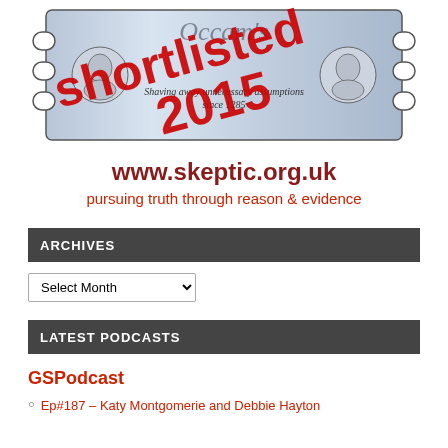[Figure (logo): Occam's Razor logo — a metallic razor blade with decorative profile faces on each side, text reading 'Shaving away unnecessary assumptions since 1285'. A red diagonal stamp overlay reads 'shortlisted 2015'.]
www.skeptic.org.uk
pursuing truth through reason & evidence
ARCHIVES
Select Month
LATEST PODCASTS
GSPodcast
Ep#187 – Katy Montgomerie and Debbie Hayton